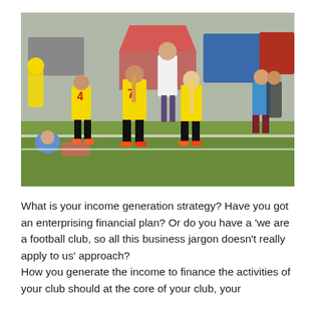[Figure (photo): Outdoor youth football (soccer) scene. Several children in yellow and red jerseys (numbers 4 and 7 visible) stand on a grass pitch. Adults and other children are visible in the background. Cars, a tent, and other outdoor event equipment are in the background.]
What is your income generation strategy? Have you got an enterprising financial plan? Or do you have a 'we are a football club, so all this business jargon doesn't really apply to us' approach?
How you generate the income to finance the activities of your club should at the core of your club, your